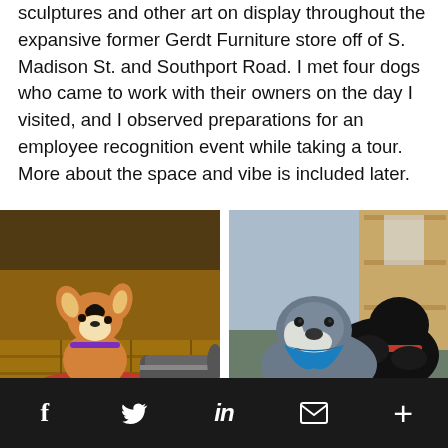sculptures and other art on display throughout the expansive former Gerdt Furniture store off of S. Madison St. and Southport Road. I met four dogs who came to work with their owners on the day I visited, and I observed preparations for an employee recognition event while taking a tour. More about the space and vibe is included later.
[Figure (photo): A small Corgi puppy sitting on a red mat, looking upward, wearing a purple collar, with someone's sneaker visible in the background on a wooden floor.]
[Figure (photo): Two dogs together: a grey/blue Pit Bull wearing a blue bandana in the foreground, and a large black curly-haired dog with a red collar behind it, both sitting on a carpet near wooden furniture.]
f  [twitter bird]  in  [envelope]  +